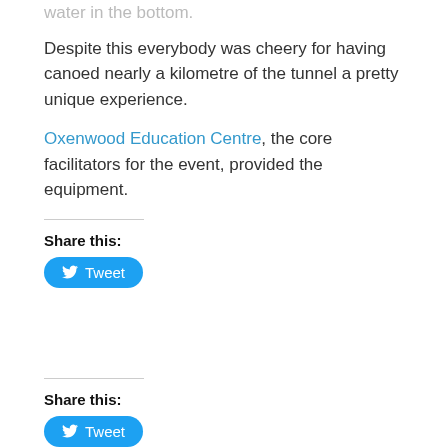water in the bottom.
Despite this everybody was cheery for having canoed nearly a kilometre of the tunnel a pretty unique experience.
Oxenwood Education Centre, the core facilitators for the event, provided the equipment.
Share this:
[Figure (other): Tweet button with Twitter bird icon]
Share this:
[Figure (other): Tweet button with Twitter bird icon]